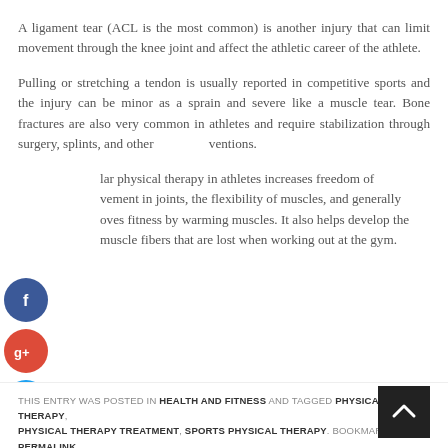A ligament tear (ACL is the most common) is another injury that can limit movement through the knee joint and affect the athletic career of the athlete.
Pulling or stretching a tendon is usually reported in competitive sports and the injury can be minor as a sprain and severe like a muscle tear. Bone fractures are also very common in athletes and require stabilization through surgery, splints, and other interventions.
[Figure (other): Social media share icons: Facebook (blue circle with f), Google+ (red circle with g+), Twitter (blue circle with bird), Add/Plus (dark circle with +)]
lar physical therapy in athletes increases freedom of movement in joints, the flexibility of muscles, and generally improves fitness by warming muscles. It also helps develop the muscle fibers that are lost when working out at the gym.
THIS ENTRY WAS POSTED IN HEALTH AND FITNESS AND TAGGED PHYSICAL THERAPY, PHYSICAL THERAPY TREATMENT, SPORTS PHYSICAL THERAPY. BOOKMARK THE PERMALINK.